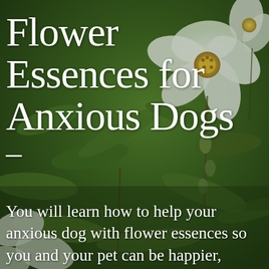[Figure (photo): Close-up photograph of white flowers with yellow centers (wild roses or similar) and green leaves as background, overlaid with text about flower essences for anxious dogs]
Flower Essences for Anxious Dogs
You will learn how to help your anxious dog with flower essences so you and your pet can be happier, calmer, and less stressed so you